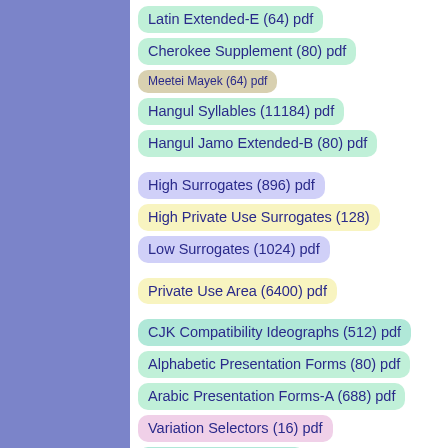Latin Extended-E (64) pdf
Cherokee Supplement (80) pdf
Meetei Mayek (64) pdf
Hangul Syllables (11184) pdf
Hangul Jamo Extended-B (80) pdf
High Surrogates (896) pdf
High Private Use Surrogates (128)
Low Surrogates (1024) pdf
Private Use Area (6400) pdf
CJK Compatibility Ideographs (512) pdf
Alphabetic Presentation Forms (80) pdf
Arabic Presentation Forms-A (688) pdf
Variation Selectors (16) pdf
Vertical Forms (16) pdf
Combining Half Marks (16) pdf